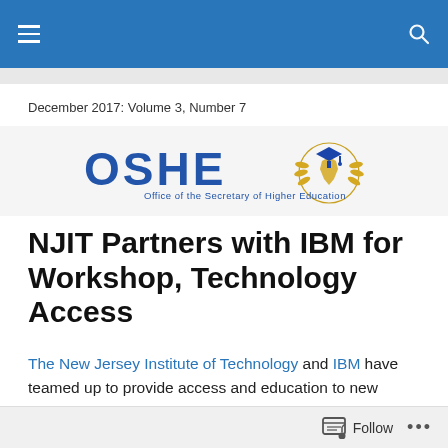Navigation bar with hamburger menu and search icon
December 2017: Volume 3, Number 7
[Figure (logo): OSHE logo — Office of the Secretary of Higher Education, with blue text 'OSHE' and a gold graduation cap with NJ state outline emblem and laurel wreath]
NJIT Partners with IBM for Workshop, Technology Access
The New Jersey Institute of Technology and IBM have teamed up to provide access and education to new technologies.
Follow  •••